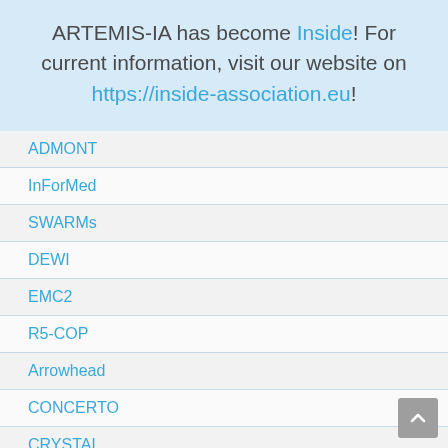ARTEMIS-IA has become Inside! For current information, visit our website on https://inside-association.eu!
ADMONT
InForMed
SWARMs
DEWI
EMC2
R5-COP
Arrowhead
CONCERTO
CRYSTAL
CRAFTERS
DESERVE